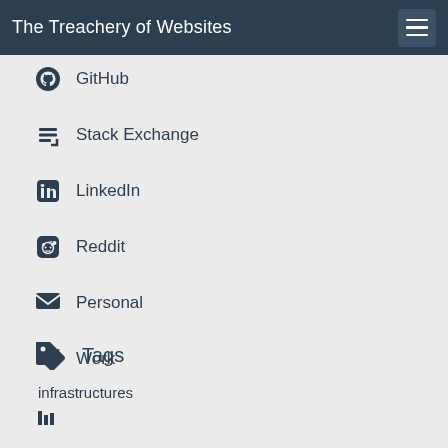The Treachery of Websites
GitHub
Stack Exchange
LinkedIn
Reddit
Personal
Work
Tags
infrastructures
Links